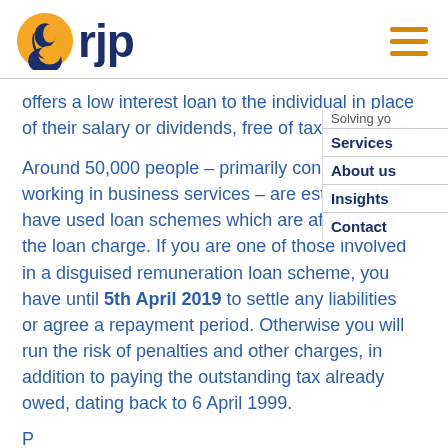[Figure (logo): RJP logo with orange and navy profile face icon and navy 'rjp' text]
offers a low interest loan to the individual in place of their salary or dividends, free of taxes or NICs.
Around 50,000 people – primarily consultants working in business services – are estimated to have used loan schemes which are affected by the loan charge. If you are one of those involved in a disguised remuneration loan scheme, you have until 5th April 2019 to settle any liabilities or agree a repayment period. Otherwise you will run the risk of penalties and other charges, in addition to paying the outstanding tax already owed, dating back to 6 April 1999.
Solving yo...
Services
About us
Insights
Contact